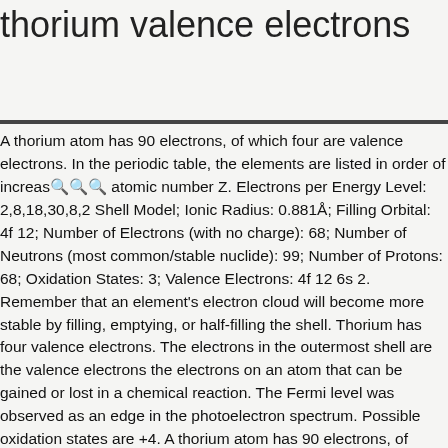thorium valence electrons
A thorium atom has 90 electrons, of which four are valence electrons. In the periodic table, the elements are listed in order of increasing atomic number Z. Electrons per Energy Level: 2,8,18,30,8,2 Shell Model; Ionic Radius: 0.881Å; Filling Orbital: 4f 12; Number of Electrons (with no charge): 68; Number of Neutrons (most common/stable nuclide): 99; Number of Protons: 68; Oxidation States: 3; Valence Electrons: 4f 12 6s 2. Remember that an element's electron cloud will become more stable by filling, emptying, or half-filling the shell. Thorium has four valence electrons. The electrons in the outermost shell are the valence electrons the electrons on an atom that can be gained or lost in a chemical reaction. The Fermi level was observed as an edge in the photoelectron spectrum. Possible oxidation states are +4. A thorium atom has 90 electrons, of which four are valence electrons. Are there Realistic Dry-Cleaning Alternatives to Perc? Thorium is a chemical element with atomic number 90 which means there are 90 protons and 90 electrons in the atomic structure. Diagram of the nuclear composition, electron configuration, chemical data, and valence (outer electron) orbitals of an atom of thorium-2 - 2ACT1M1 from Alamy's library of millions of high resolution stock photos, illustrations and vectors. But there can also be